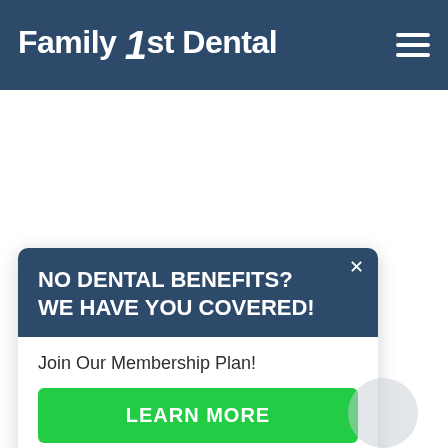Family 1st Dental
NO DENTAL BENEFITS? WE HAVE YOU COVERED!
Join Our Membership Plan!
LEARN MORE